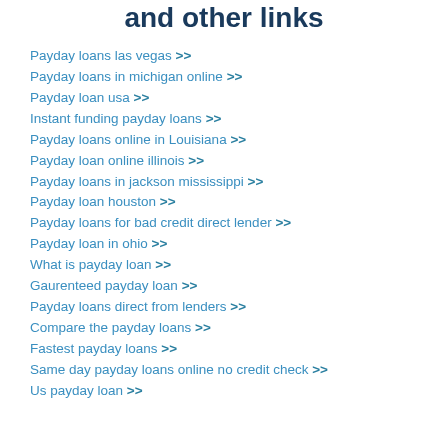and other links
Payday loans las vegas >>
Payday loans in michigan online >>
Payday loan usa >>
Instant funding payday loans >>
Payday loans online in Louisiana >>
Payday loan online illinois >>
Payday loans in jackson mississippi >>
Payday loan houston >>
Payday loans for bad credit direct lender >>
Payday loan in ohio >>
What is payday loan >>
Gaurenteed payday loan >>
Payday loans direct from lenders >>
Compare the payday loans >>
Fastest payday loans >>
Same day payday loans online no credit check >>
Us payday loan >>